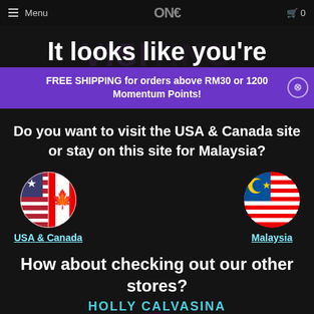Menu  ONE€  0
FREE SHIPPING for orders above RM30 or 1200 Momentum Points!
It looks like you're
Do you want to visit the USA & Canada site or stay on this site for Malaysia?
[Figure (illustration): Two circular flag icons side by side: left is combined USA & Canada flag, right is Malaysia flag. Center has a cat image with ONE€ logo.]
USA & Canada
Malaysia
How about checking out our other stores?
HOLLY CALVASINA